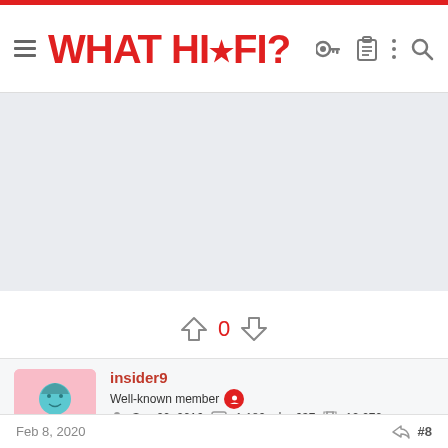WHAT HI·FI?
[Figure (other): Grey advertisement/banner placeholder area]
↑ 0 ↓
insider9
Well-known member
Sep 20, 2016  1,182  637  12,070
Feb 8, 2020  #8